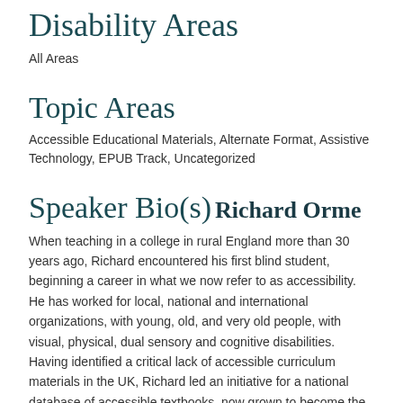Disability Areas
All Areas
Topic Areas
Accessible Educational Materials, Alternate Format, Assistive Technology, EPUB Track, Uncategorized
Speaker Bio(s)
Richard Orme
When teaching in a college in rural England more than 30 years ago, Richard encountered his first blind student, beginning a career in what we now refer to as accessibility. He has worked for local, national and international organizations, with young, old, and very old people, with visual, physical, dual sensory and cognitive disabilities. Having identified a critical lack of accessible curriculum materials in the UK, Richard led an initiative for a national database of accessible textbooks, now grown to become the national Education Collection operating as RNIB Bookshare.